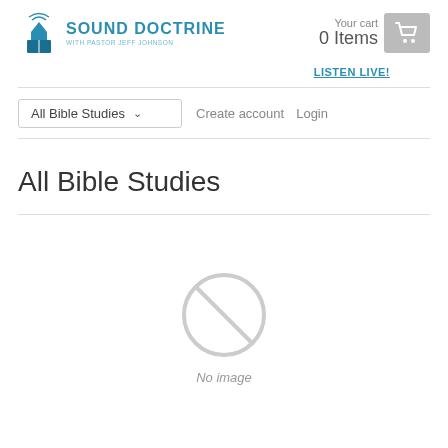[Figure (logo): Sound Doctrine with Pastor Jeff Johnson logo - church/broadcast icon in blue with text]
Your cart
0 Items
LISTEN LIVE!
All Bible Studies
Create account   Login
All Bible Studies
[Figure (illustration): No image placeholder - circle with diagonal line through it, grey outline]